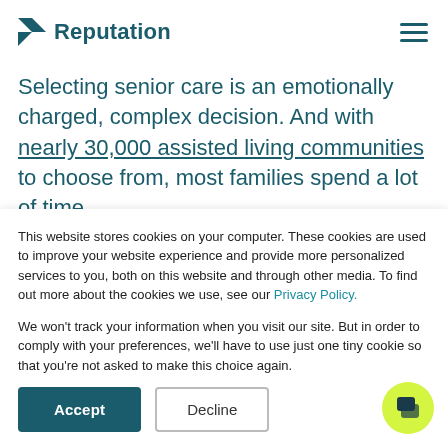Reputation
Selecting senior care is an emotionally charged, complex decision. And with nearly 30,000 assisted living communities to choose from, most families spend a lot of time
This website stores cookies on your computer. These cookies are used to improve your website experience and provide more personalized services to you, both on this website and through other media. To find out more about the cookies we use, see our Privacy Policy.

We won't track your information when you visit our site. But in order to comply with your preferences, we'll have to use just one tiny cookie so that you're not asked to make this choice again.